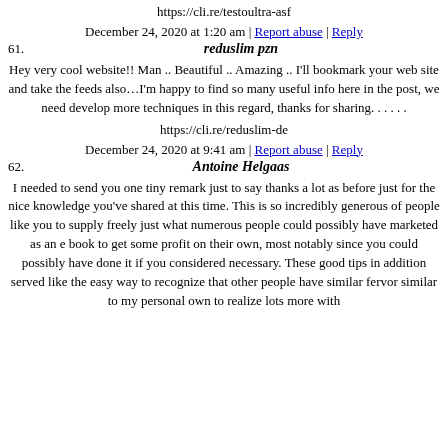https://cli.re/testoultra-asf
December 24, 2020 at 1:20 am | Report abuse | Reply
61. reduslim pzn
Hey very cool website!! Man .. Beautiful .. Amazing .. I'll bookmark your web site and take the feeds also…I'm happy to find so many useful info here in the post, we need develop more techniques in this regard, thanks for sharing. . . . . .
https://cli.re/reduslim-de
December 24, 2020 at 9:41 am | Report abuse | Reply
62. Antoine Helgaas
I needed to send you one tiny remark just to say thanks a lot as before just for the nice knowledge you've shared at this time. This is so incredibly generous of people like you to supply freely just what numerous people could possibly have marketed as an e book to get some profit on their own, most notably since you could possibly have done it if you considered necessary. These good tips in addition served like the easy way to recognize that other people have similar fervor similar to my personal own to realize lots more with